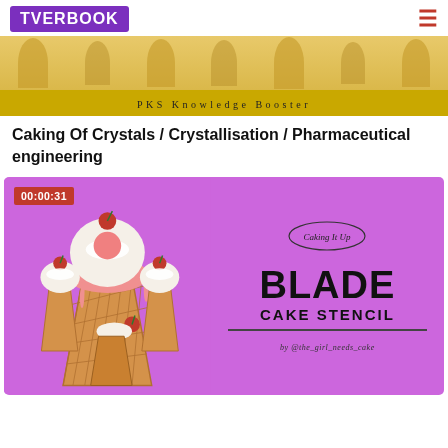[Figure (screenshot): TVERBOOK website header with purple logo and hamburger menu icon]
[Figure (screenshot): PKS Knowledge Booster banner image with golden background]
Caking Of Crystals / Crystallisation / Pharmaceutical engineering
[Figure (screenshot): Video thumbnail with timestamp 00:00:31 showing ice cream cake and BLADE CAKE STENCIL text by @the_girl_needs_cake on purple background]